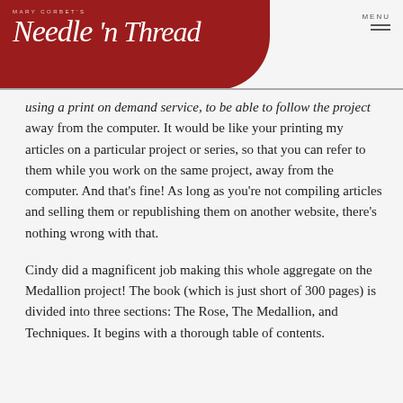MARY CORBET'S Needle 'n Thread
using a print on demand service, to be able to follow the project away from the computer. It would be like your printing my articles on a particular project or series, so that you can refer to them while you work on the same project, away from the computer. And that's fine! As long as you're not compiling articles and selling them or republishing them on another website, there's nothing wrong with that.
Cindy did a magnificent job making this whole aggregate on the Medallion project! The book (which is just short of 300 pages) is divided into three sections: The Rose, The Medallion, and Techniques. It begins with a thorough table of contents.